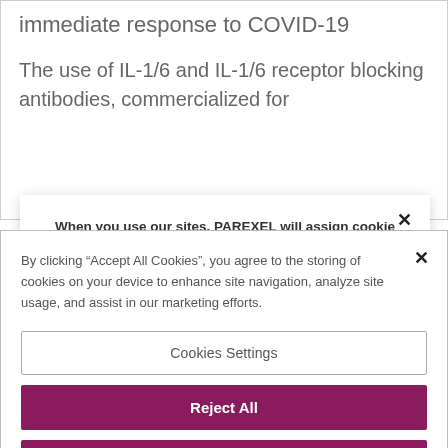immediate response to COVID-19
The use of IL-1/6 and IL-1/6 receptor blocking antibodies, commercialized for
When you use our sites, PAREXEL will assign cookie files (“Cookies”) to you, which are a small amount of information we send to your web browser. Cookies enable the computers
By clicking “Accept All Cookies”, you agree to the storing of cookies on your device to enhance site navigation, analyze site usage, and assist in our marketing efforts.
Cookies Settings
Reject All
Accept All Cookies